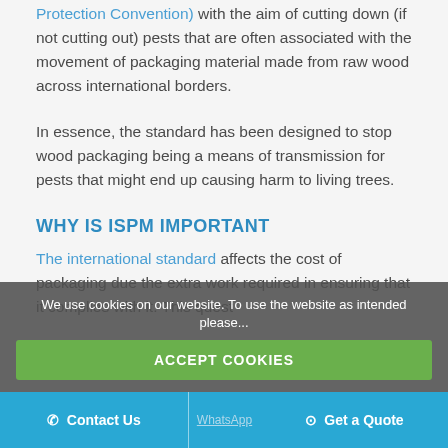Protection Convention) with the aim of cutting down (if not cutting out) pests that are often associated with the movement of packaging material made from raw wood across international borders.
In essence, the standard has been designed to stop wood packaging being a means of transmission for pests that might end up causing harm to living trees.
WHY IS ISPM IMPORTANT
The international standard affects the cost of packaging due the extra work required in ensuring that it complies with it. This quest...
We use cookies on our website. To use the website as intended please...
ACCEPT COOKIES
Contact Us | WhatsApp | Get a Quote